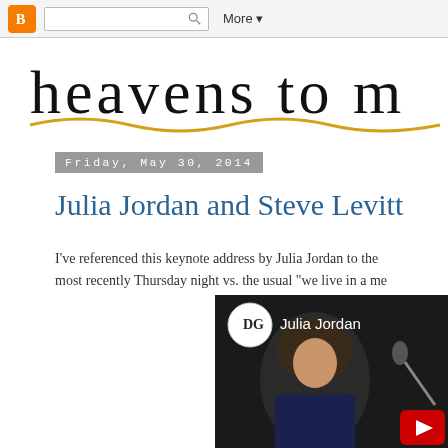Blogger toolbar with logo, search box, and More button
[Figure (illustration): Handwritten-style blog title 'heavens to m' with a wavy golden underline, on white background]
Friday, May 30, 2014
Julia Jordan and Steve Levitt
I've referenced this keynote address by Julia Jordan to the most recently Thursday night vs. the usual "we live in a me
[Figure (screenshot): YouTube video thumbnail showing Julia Jordan speaking at a microphone, with DG logo circle and 'Julia Jordan' title text overlay, and YouTube play button in corner]